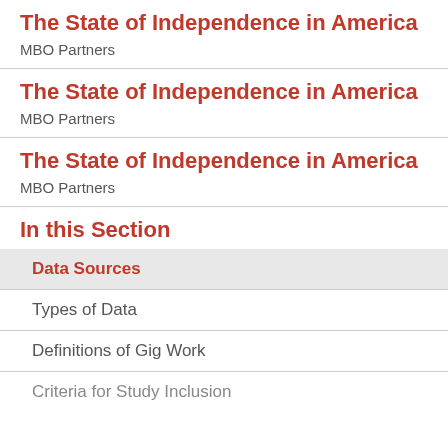The State of Independence in America
MBO Partners
The State of Independence in America
MBO Partners
The State of Independence in America
MBO Partners
In this Section
Data Sources
Types of Data
Definitions of Gig Work
Criteria for Study Inclusion